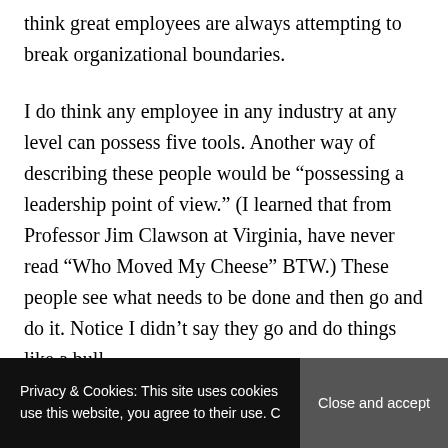think great employees are always attempting to break organizational boundaries.
I do think any employee in any industry at any level can possess five tools. Another way of describing these people would be “possessing a leadership point of view.” (I learned that from Professor Jim Clawson at Virginia, have never read “Who Moved My Cheese” BTW.) These people see what needs to be done and then go and do it. Notice I didn’t say they go and do things like a bull
Privacy & Cookies: This site uses cookies. By continuing to use this website, you agree to their use. Close and accept